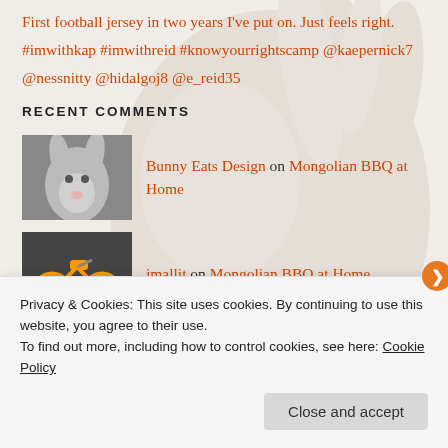First football jersey in two years I've put on. Just feels right. #imwithkap #imwithreid #knowyourrightscamp @kaepernick7 @nessnitty @hidalgoj8 @e_reid35
RECENT COMMENTS
Bunny Eats Design on Mongolian BBQ at Home
jmallit on Mongolian BBQ at Home
Bunny Eats Design on Mongolian BBQ at Home
Privacy & Cookies: This site uses cookies. By continuing to use this website, you agree to their use. To find out more, including how to control cookies, see here: Cookie Policy